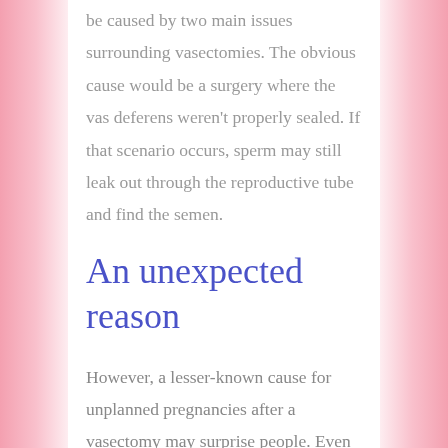be caused by two main issues surrounding vasectomies. The obvious cause would be a surgery where the vas deferens weren't properly sealed. If that scenario occurs, sperm may still leak out through the reproductive tube and find the semen.
An unexpected reason
However, a lesser-known cause for unplanned pregnancies after a vasectomy may surprise people. Even